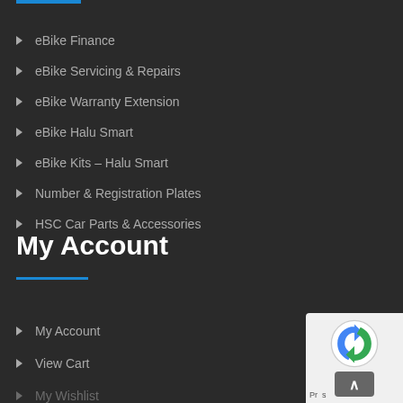eBike Finance
eBike Servicing & Repairs
eBike Warranty Extension
eBike Halu Smart
eBike Kits – Halu Smart
Number & Registration Plates
HSC Car Parts & Accessories
My Account
My Account
View Cart
My Wishlist